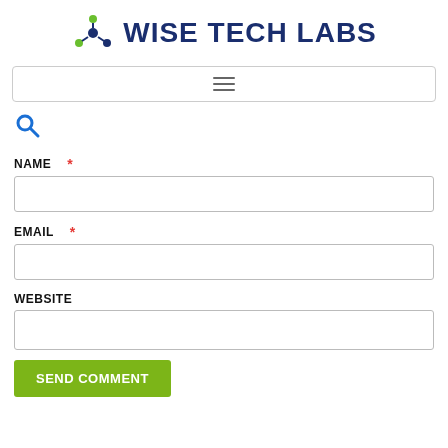[Figure (logo): Wise Tech Labs logo with green molecular icon and dark blue bold text WISE TECH LABS]
[Figure (screenshot): Navigation bar with hamburger menu icon (three horizontal lines)]
[Figure (screenshot): Search icon (magnifying glass)]
NAME *
[Figure (screenshot): Empty text input field for Name]
EMAIL *
[Figure (screenshot): Empty text input field for Email]
WEBSITE
[Figure (screenshot): Empty text input field for Website]
SEND COMMENT